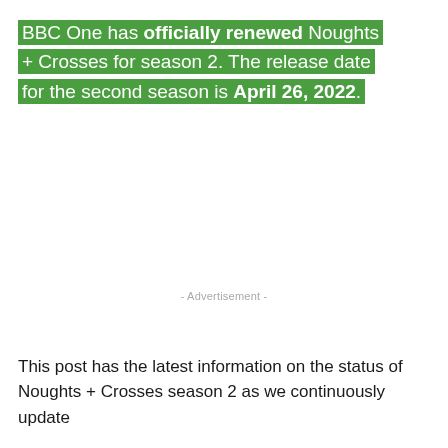BBC One has officially renewed Noughts + Crosses for season 2. The release date for the second season is April 26, 2022.
- Advertisement -
This post has the latest information on the status of Noughts + Crosses season 2 as we continuously update...